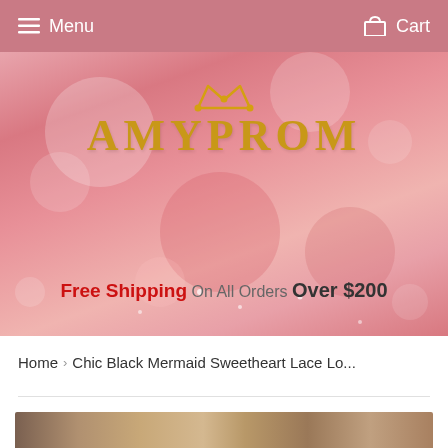Menu   Cart
[Figure (illustration): AmyProm website hero banner with pink bokeh background, gold crown icon, gold AMYPROM text logo, and Free Shipping On All Orders Over $200 text]
Free Shipping On All Orders Over $200
Home › Chic Black Mermaid Sweetheart Lace Lo...
[Figure (photo): Partial product photo strip showing black mermaid dress with lace details]